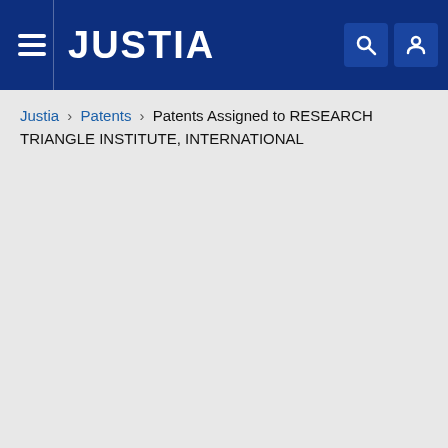JUSTIA
Justia › Patents › Patents Assigned to RESEARCH TRIANGLE INSTITUTE, INTERNATIONAL